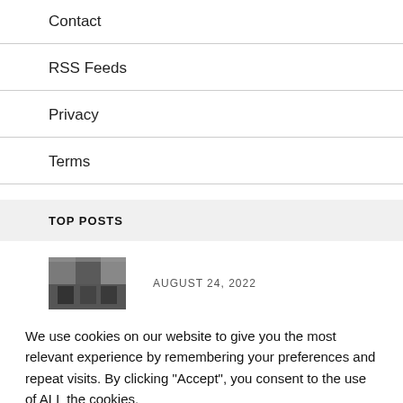Contact
RSS Feeds
Privacy
Terms
TOP POSTS
AUGUST 24, 2022
We use cookies on our website to give you the most relevant experience by remembering your preferences and repeat visits. By clicking “Accept”, you consent to the use of ALL the cookies.
Cookie settings
ACCEPT